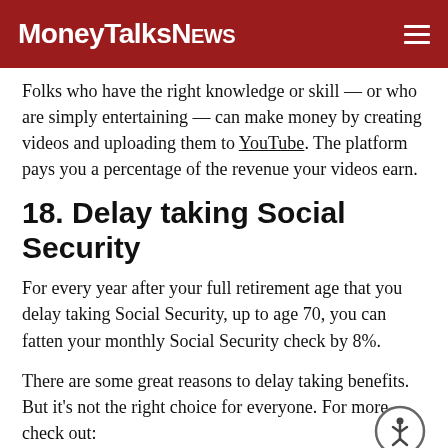MoneyTalksNews
Folks who have the right knowledge or skill — or who are simply entertaining — can make money by creating videos and uploading them to YouTube. The platform pays you a percentage of the revenue your videos earn.
18. Delay taking Social Security
For every year after your full retirement age that you delay taking Social Security, up to age 70, you can fatten your monthly Social Security check by 8%.
There are some great reasons to delay taking benefits. But it's not the right choice for everyone. For more, check out: